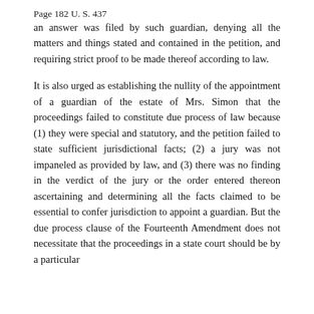Page 182 U. S. 437
an answer was filed by such guardian, denying all the matters and things stated and contained in the petition, and requiring strict proof to be made thereof according to law.
It is also urged as establishing the nullity of the appointment of a guardian of the estate of Mrs. Simon that the proceedings failed to constitute due process of law because (1) they were special and statutory, and the petition failed to state sufficient jurisdictional facts; (2) a jury was not impaneled as provided by law, and (3) there was no finding in the verdict of the jury or the order entered thereon ascertaining and determining all the facts claimed to be essential to confer jurisdiction to appoint a guardian. But the due process clause of the Fourteenth Amendment does not necessitate that the proceedings in a state court should be by a particular